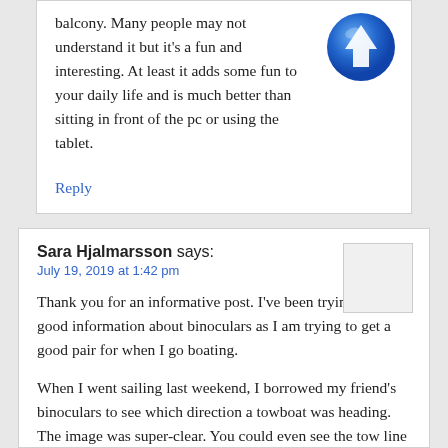balcony. Many people may not understand it but it's a fun and interesting. At least it adds some fun to your daily life and is much better than sitting in front of the pc or using the tablet.
Reply
Sara Hjalmarsson says: July 19, 2019 at 1:42 pm
Thank you for an informative post. I've been trying to find good information about binoculars as I am trying to get a good pair for when I go boating.
When I went sailing last weekend, I borrowed my friend's binoculars to see which direction a towboat was heading. The image was super-clear. You could even see the tow line on the ship. The binoculars were also steady and easy on the eyes. I had no idea binoculars could be that